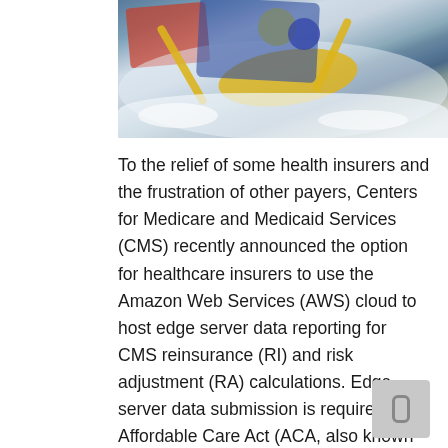[Figure (photo): Whitewater kayaking/rafting photo showing two people in a kayak navigating rapids, wearing helmets and using yellow paddles, with churning white water around them.]
To the relief of some health insurers and the frustration of other payers, Centers for Medicare and Medicaid Services (CMS) recently announced the option for healthcare insurers to use the Amazon Web Services (AWS) cloud to host edge server data reporting for CMS reinsurance (RI) and risk adjustment (RA) calculations. Edge server data submission is required of Affordable Care Act (ACA, also known as Obamacare) healthcare plans. The Advalent edge server solution, Advalent 3R Edge Plus, supports the use of Amazon EDGE server